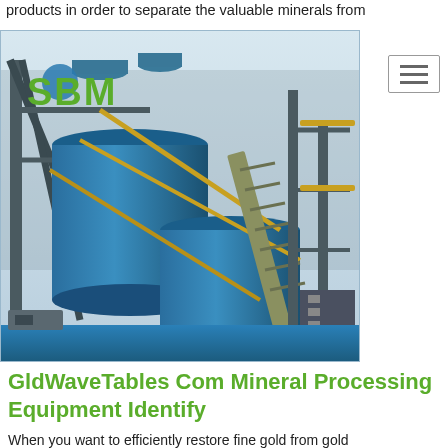products in order to separate the valuable minerals from
ess that most
de a more
f extractive
nminution and
t operations
[Figure (photo): Industrial mineral processing plant with large blue cylindrical silos/tanks on a steel structural framework, with stairs and railings. SBM logo overlaid in top-left area.]
GldWaveTables Com Mineral Processing Equipment Identify
When you want to efficiently restore fine gold from gold
ntrator For